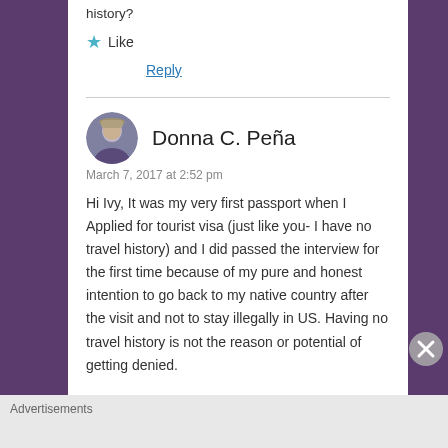history?
★ Like
Reply
Donna C. Peña
March 7, 2017 at 2:52 pm
Hi Ivy, It was my very first passport when I Applied for tourist visa (just like you- I have no travel history) and I did passed the interview for the first time because of my pure and honest intention to go back to my native country after the visit and not to stay illegally in US. Having no travel history is not the reason or potential of getting denied.
Advertisements